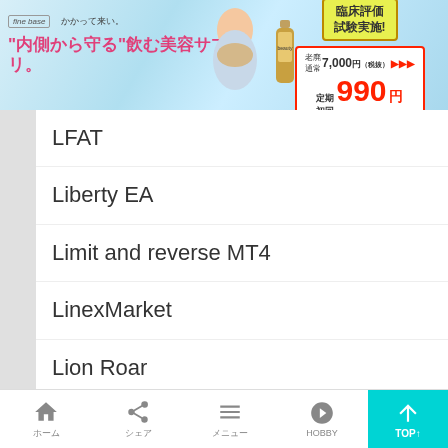[Figure (screenshot): Japanese advertisement banner for a beauty supplement drink product. Text includes: 'fine base', 'かかって来い。', '"内側から守る"飲む美容サプリ。', '臨床評価試験実施!', '老廃 通常 7,000円（税抜）', '定期初回 990円']
LFAT
Liberty EA
Limit and reverse MT4
LinexMarket
Lion Roar
Lite Hamster Scalping
LiteWave EA
Live grid
ホーム　シェア　メニュー　HOBBY　TOP↑